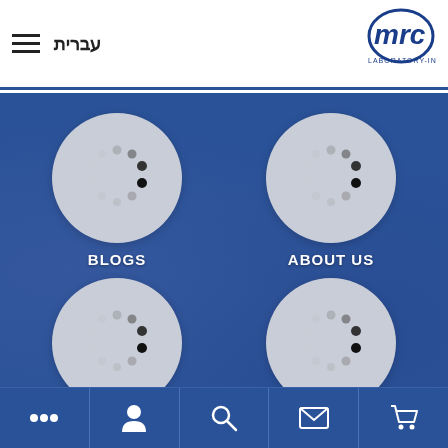עברית — MRC Laboratory Instruments
[Figure (screenshot): Website screenshot showing MRC Laboratory Instruments mobile navigation page with four circular loading spinner icons labeled BLOGS and ABOUT US (top two), two unlabeled circles (bottom), on a dark blue background with a lab photo background. Header has hamburger menu, Hebrew text עברית, and MRC logo. Bottom navigation bar has icons for menu, user, search, mail, and cart.]